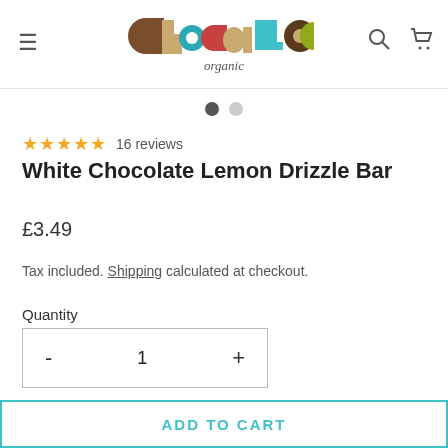[Figure (logo): Choc Loco Organic logo with colorful geometric shapes and the text 'organic' in script font below]
16 reviews
White Chocolate Lemon Drizzle Bar
£3.49
Tax included. Shipping calculated at checkout.
Quantity
- 1 +
ADD TO CART